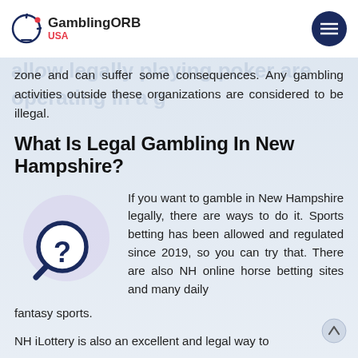GamblingORB USA
zone and can suffer some consequences. Any gambling activities outside these organizations are considered to be illegal.
What Is Legal Gambling In New Hampshire?
[Figure (illustration): Magnifying glass with question mark icon on a light purple circular background]
If you want to gamble in New Hampshire legally, there are ways to do it. Sports betting has been allowed and regulated since 2019, so you can try that. There are also NH online horse betting sites and many daily fantasy sports.
NH iLottery is also an excellent and legal way to